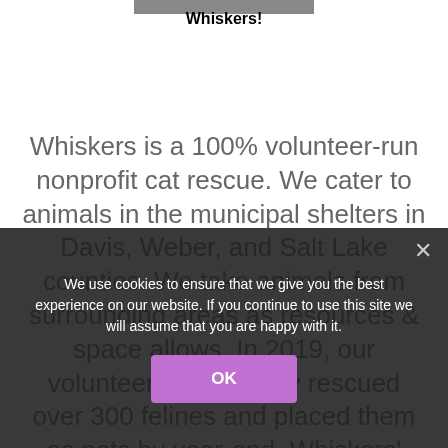Whiskers!
Whiskers is a 100% volunteer-run nonprofit cat rescue. We cater to animals in the municipal shelters in Davis, Weber, and Salt Lake counties. We take animals from surrounding areas as resources & space allows. In 2019, our volunteers collectively rescued over 300 felines and placed them as pets by year-end. Whiskers' focus is on those most at risk in our shelters due to age, special needs, or condition. In 2020, our volunteers
We use cookies to ensure that we give you the best experience on our website. If you continue to use this site we will assume that you are happy with it.
OK